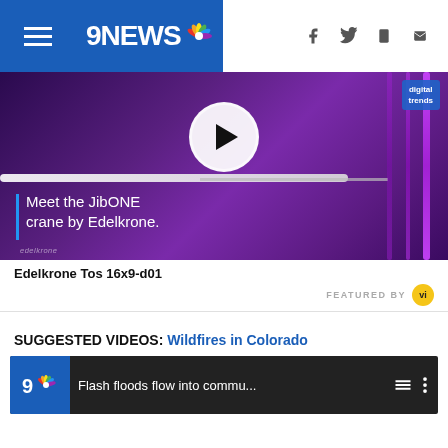9NEWS
[Figure (screenshot): Video player showing Edelkrone JibONE crane product video with play button overlay, purple lighting background, digital trends badge, and text 'Meet the JibONE crane by Edelkrone.']
Edelkrone Tos 16x9-d01
FEATURED BY vi
SUGGESTED VIDEOS: Wildfires in Colorado
[Figure (screenshot): 9NEWS video thumbnail showing 'Flash floods flow into commu...' with menu icons]